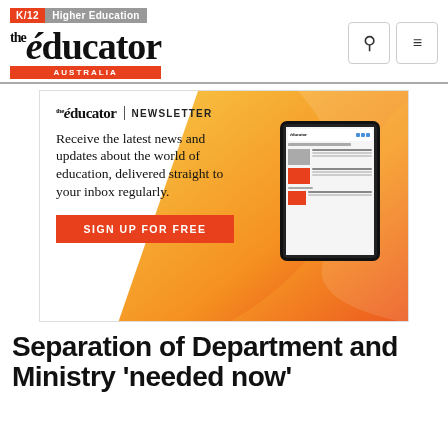K/12 | Higher Education — the educator AUSTRALIA
[Figure (screenshot): The Educator newsletter advertisement banner with orange/yellow gradient background, tablet image, and sign-up button]
Separation of Department and Ministry 'needed now'